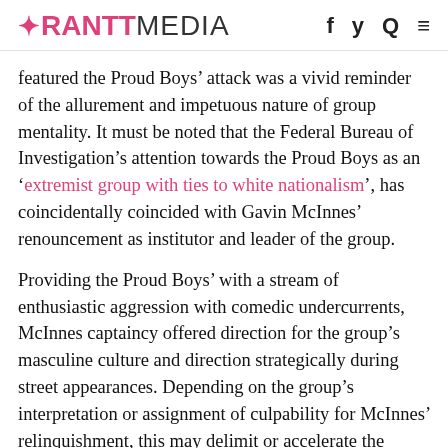RANTT MEDIA
featured the Proud Boys’ attack was a vivid reminder of the allurement and impetuous nature of group mentality. It must be noted that the Federal Bureau of Investigation’s attention towards the Proud Boys as an ‘extremist group with ties to white nationalism’, has coincidentally coincided with Gavin McInnes’ renouncement as institutor and leader of the group.
Providing the Proud Boys’ with a stream of enthusiastic aggression with comedic undercurrents, McInnes captaincy offered direction for the group’s masculine culture and direction strategically during street appearances. Depending on the group’s interpretation or assignment of culpability for McInnes’ relinquishment, this may delimit or accelerate the